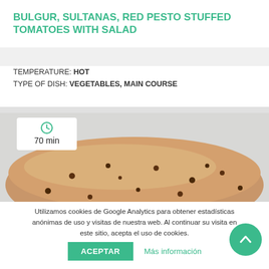BULGUR, SULTANAS, RED PESTO STUFFED TOMATOES WITH SALAD
TEMPERATURE: HOT
TYPE OF DISH: VEGETABLES, MAIN COURSE
[Figure (photo): Close-up photo of a stuffed baked item (appears to be a loaf or stuffed bread/tomato) with brown golden crust and visible raisins/sultanas, on a light grey background. A white badge shows a clock icon and '70 min'.]
Utilizamos cookies de Google Analytics para obtener estadísticas anónimas de uso y visitas de nuestra web. Al continuar su visita en este sitio, acepta el uso de cookies.
ACEPTAR    Más información